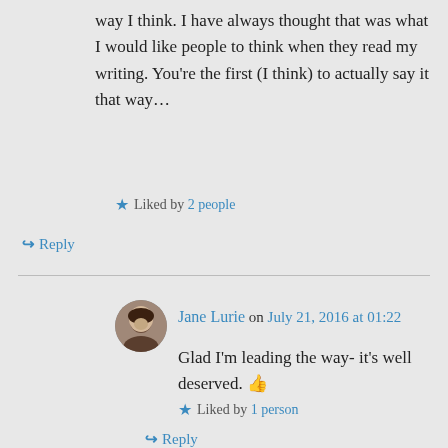way I think. I have always thought that was what I would like people to think when they read my writing. You're the first (I think) to actually say it that way…
Liked by 2 people
Reply
Jane Lurie on July 21, 2016 at 01:22
Glad I'm leading the way- it's well deserved. 👍
Liked by 1 person
Reply